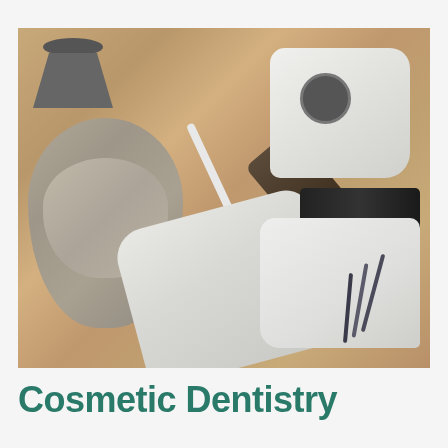[Figure (photo): Overhead/top-down view of a dental operatory showing a taupe/gray leather dental chair headrest on the left, white dental chair seat in the center, a dark dental equipment arm, white dental light/unit equipment on the upper right, white connecting hoses/cables, a white instrument tray with dental tools (picks, probes) in the lower right, and a rolling stool visible in the upper left. The background shows light wood-grain flooring.]
Cosmetic Dentistry